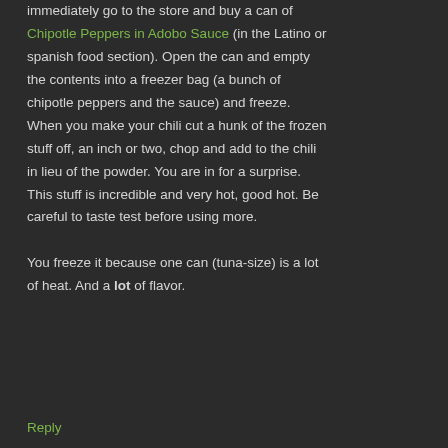immediately go to the store and buy a can of Chipotle Peppers in Adobo Sauce (in the Latino or spanish food section). Open the can and empty the contents into a freezer bag (a bunch of chipotle peppers and the sauce) and freeze. When you make your chili cut a hunk of the frozen stuff off, an inch or two, chop and add to the chili in lieu of the powder. You are in for a surprise. This stuff is incredible and very hot, good hot. Be careful to taste test before using more.

You freeze it because one can (tuna-size) is a lot of heat. And a lot of flavor.
Reply